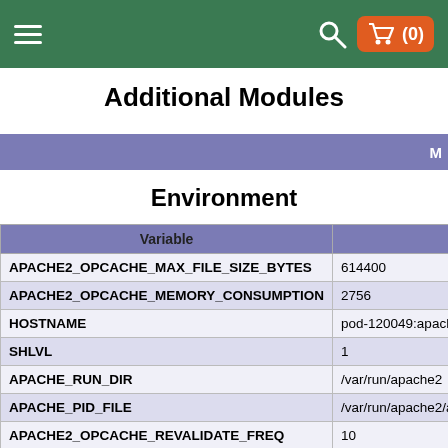Navigation bar with hamburger menu, search icon, and cart (0)
Additional Modules
M
Environment
| Variable |  |
| --- | --- |
| APACHE2_OPCACHE_MAX_FILE_SIZE_BYTES | 614400 |
| APACHE2_OPCACHE_MEMORY_CONSUMPTION | 2756 |
| HOSTNAME | pod-120049:apache2 |
| SHLVL | 1 |
| APACHE_RUN_DIR | /var/run/apache2 |
| APACHE_PID_FILE | /var/run/apache2/apa |
| APACHE2_OPCACHE_REVALIDATE_FREQ | 10 |
| _ | /usr/sbin/apache2ctl |
| APACHE2_LISTEN_PORT_RW | 6778 |
| APACHE2_OPCACHE_HUGE_CODE_PAGES | 1 |
| PATH | /usr/local/sbin:/usr/lo |
| APACHE_LOCK_DIR | /var/lock/apache2 |